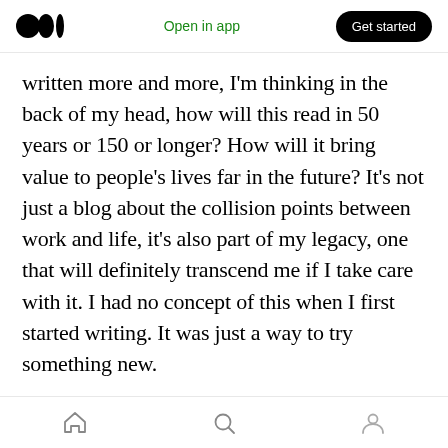Medium logo | Open in app | Get started
written more and more, I'm thinking in the back of my head, how will this read in 50 years or 150 or longer? How will it bring value to people's lives far in the future? It's not just a blog about the collision points between work and life, it's also part of my legacy, one that will definitely transcend me if I take care with it. I had no concept of this when I first started writing. It was just a way to try something new.
Looking around I think most people are so busy trying to survive the never ending challenges of life that there is very little in the way of this lon
Home | Search | Profile